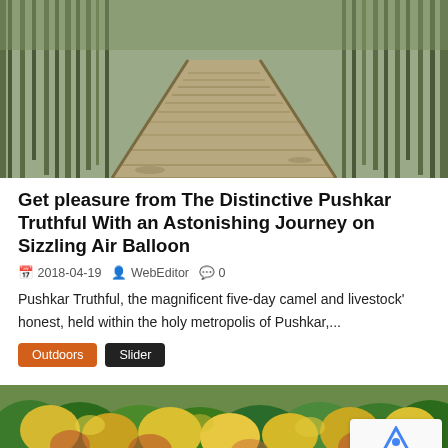[Figure (photo): Wooden boardwalk path extending into a forest with bare trees on both sides, perspective shot]
Get pleasure from The Distinctive Pushkar Truthful With an Astonishing Journey on Sizzling Air Balloon
2018-04-19  WebEditor  0
Pushkar Truthful, the magnificent five-day camel and livestock' honest, held within the holy metropolis of Pushkar,...
Outdoors
Slider
[Figure (photo): Aerial or wide view of colorful autumn forest with yellow, orange, green trees]